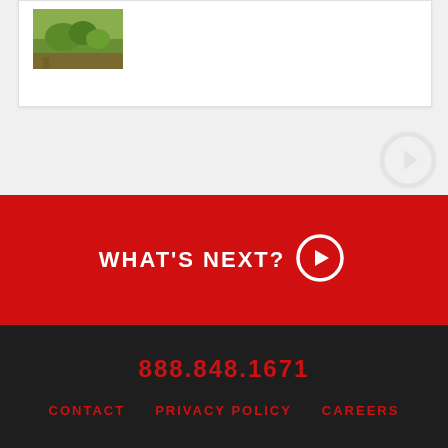[Figure (photo): White card with a small landscape/nature thumbnail image in the upper left]
[Figure (logo): Faint circular icon in top-right background area]
WHAT'S NEXT?
888.848.1671
CONTACT   PRIVACY POLICY   CAREERS